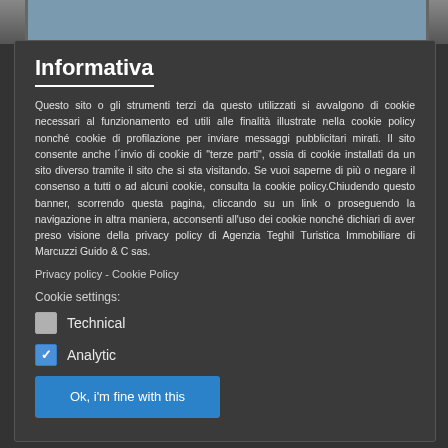[Figure (photo): Partial photo visible at top of page behind modal overlay]
Informativa
Questo sito o gli strumenti terzi da questo utilizzati si avvalgono di cookie necessari al funzionamento ed utili alle finalità illustrate nella cookie policy nonché cookie di profilazione per inviare messaggi pubblicitari mirati. Il sito consente anche l´invio di cookie di "terze parti", ossia di cookie installati da un sito diverso tramite il sito che si sta visitando. Se vuoi saperne di più o negare il consenso a tutti o ad alcuni cookie, consulta la cookie policy.Chiudendo questo banner, scorrendo questa pagina, cliccando su un link o proseguendo la navigazione in altra maniera, acconsenti all'uso dei cookie nonché dichiari di aver preso visione della privacy policy di Agenzia Teghil Turistica Immobiliare di Marcuzzi Guido & C sas.
Privacy policy - Cookie Policy
Cookie settings:
Technical
Analytic
Ok, i'm fine with this